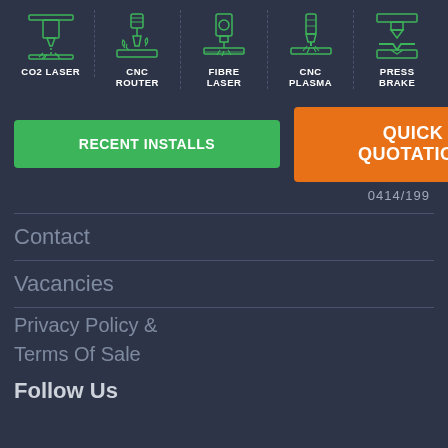[Figure (infographic): Five service icons in a horizontal row: CO2 Laser, CNC Router, Fibre Laser, CNC Plasma, Press Brake — each with a green outline icon above its label, separated by dashed vertical lines.]
RECENT INSTALLS
QUICK QUOTATION
0414/199
Contact
Vacancies
Privacy Policy &
Terms Of Sale
Follow Us